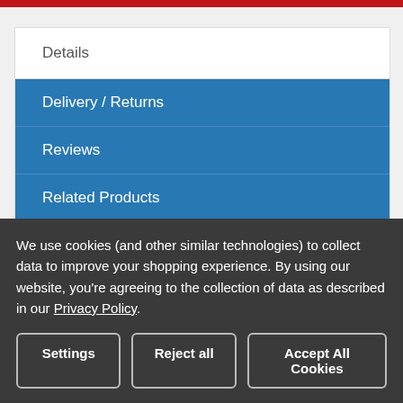Details
Delivery / Returns
Reviews
Related Products
ROLLER MEASUREMENTS GUIDE
We use cookies (and other similar technologies) to collect data to improve your shopping experience. By using our website, you're agreeing to the collection of data as described in our Privacy Policy.